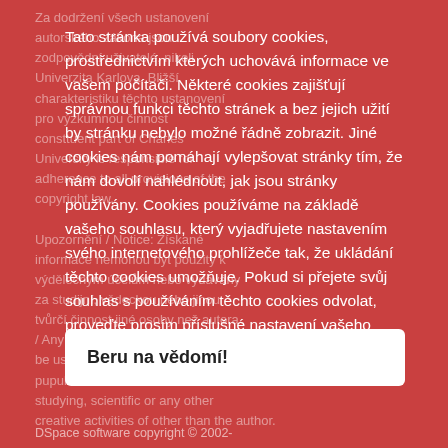Za dodržení všech ustanovení autorského zákona jsou zodpovědní uživatelé, nikoli Univerzita Karlova. Bližší charakteristiku těchto ustanovení pro výzkumnou činnost consttuent part of Charles University is responsible for adherence to all provisions of the copyright law.

Upozornění / Notice: Získané informace nemohou být použity k výdělečným účelům nebo vydávány za studijní, vědeckou nebo jinou tvůrčí činnost jiné osoby než autora / Any retrieved information shall not be used for any purpose other than pupulated disclaimed as results of studying, scientific or any other creative activities of other than the author.
Tato stránka používá soubory cookies, prostřednictvím kterých uchovává informace ve vašem počítači. Některé cookies zajišťují správnou funkci těchto stránek a bez jejich užití by stránku nebylo možné řádně zobrazit. Jiné cookies nám pomáhají vylepšovat stránky tím, že nám dovolí nahlédnout, jak jsou stránky používány. Cookies používáme na základě vašeho souhlasu, který vyjadřujete nastavením svého internetového prohlížeče tak, že ukládání těchto cookies umožňuje. Pokud si přejete svůj souhlas s používáním těchto cookies odvolat, proveďte prosím příslušné nastavení vašeho internetového prohlížeče.
Beru na vědomí!
DSpace software copyright © 2002-